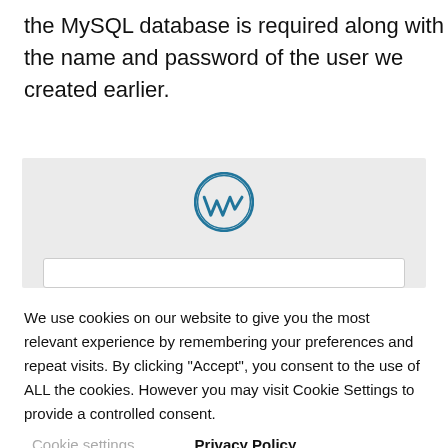the MySQL database is required along with the name and password of the user we created earlier.
[Figure (screenshot): WordPress setup screen with WordPress logo (blue circle with W) and a text input bar below it, on a light grey background.]
We use cookies on our website to give you the most relevant experience by remembering your preferences and repeat visits. By clicking “Accept”, you consent to the use of ALL the cookies. However you may visit Cookie Settings to provide a controlled consent.
Cookie settings    Privacy Policy
ACCEPT    x